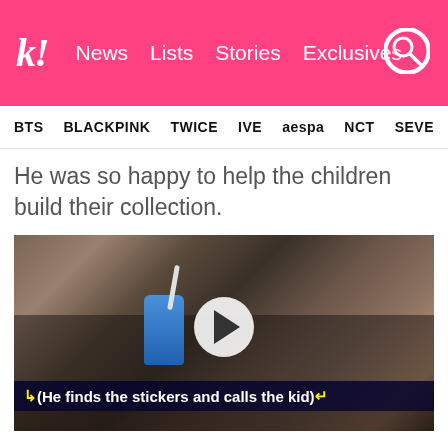k! News Lists Stories Exclusives
BTS BLACKPINK TWICE IVE aespa NCT SEVE
He was so happy to help the children build their collection.
[Figure (screenshot): Video still of a young man in a cafe/restaurant holding a blue drink cup, wearing a beige hat and teal vest, with a play button overlay and subtitle text reading: ↳(He finds the stickers and calls the kid)↵]
6. Remembering the little details about